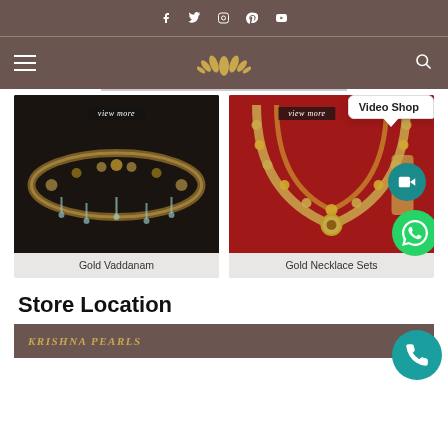Social media icons: Facebook, Twitter, Instagram, Pinterest, YouTube
Navigation bar with hamburger menu, lotus logo, and search icon
[Figure (photo): Gold Vaddanam jewelry on dark background with 'view more' label]
Gold Vaddanam
[Figure (photo): Gold Necklace Sets on red background with 'view more' label and Video Shop tooltip]
Gold Necklace Sets
Store Location
[Figure (other): Bottom brown banner with KRISHNA PEARLS text in gold italic]